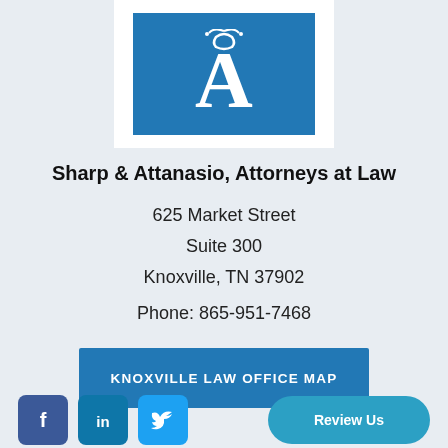[Figure (logo): Sharp & Attanasio law firm logo: blue square with white ornate letter A]
Sharp & Attanasio, Attorneys at Law
625 Market Street
Suite 300
Knoxville, TN 37902
Phone: 865-951-7468
KNOXVILLE LAW OFFICE MAP
[Figure (logo): Social media icons: Facebook, LinkedIn, Twitter, and a Review Us button]